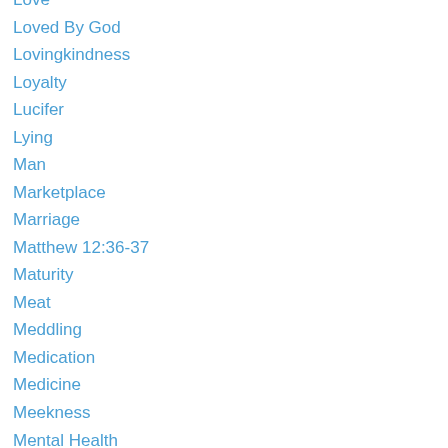Love
Loved By God
Lovingkindness
Loyalty
Lucifer
Lying
Man
Marketplace
Marriage
Matthew 12:36-37
Maturity
Meat
Meddling
Medication
Medicine
Meekness
Mental Health
Mentors
Mercy
Messengers
Mind